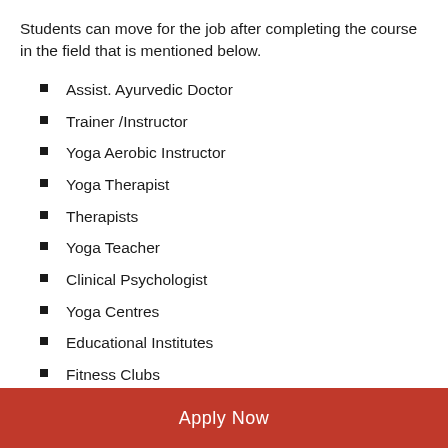Students can move for the job after completing the course in the field that is mentioned below.
Assist. Ayurvedic Doctor
Trainer /Instructor
Yoga Aerobic Instructor
Yoga Therapist
Therapists
Yoga Teacher
Clinical Psychologist
Yoga Centres
Educational Institutes
Fitness Clubs
Apply Now